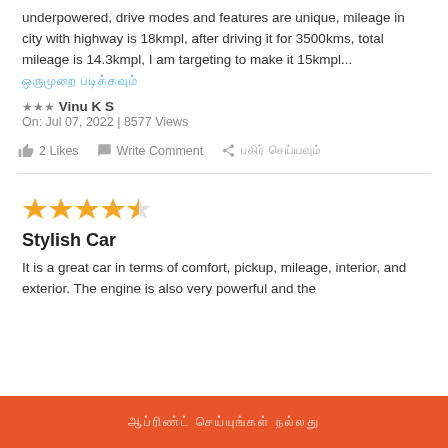underpowered, drive modes and features are unique, mileage in city with highway is 18kmpl, after driving it for 3500kms, total mileage is 14.3kmpl, I am targeting to make it 15kmpl...
ஒருமுறை படிக்கவும்
★★★ Vinu K S
On: Jul 07, 2022 | 8577 Views
2 Likes   Write Comment   பகிர் செய்யவும்
Stylish Car
It is a great car in terms of comfort, pickup, mileage, interior, and exterior. The engine is also very powerful and the
ஆப்ரிண்ட் செய்யுங்கள் நல்லது